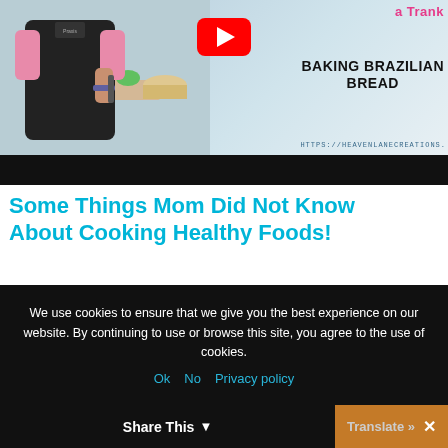[Figure (screenshot): YouTube video thumbnail showing a person in an apron baking, with text 'a Trank', 'BAKING BRAZILIAN BREAD', and 'HTTPS://HEAVENLANECREATIONS.' overlaid. A YouTube play button is visible. Below the thumbnail is a black bar.]
Some Things Mom Did Not Know About Cooking Healthy Foods!
Choose the right oils based on their smoke points. Olive Oil has a low smoke point, so
We use cookies to ensure that we give you the best experience on our website. By continuing to use or browse this site, you agree to the use of cookies.
Ok  No  Privacy policy
Share This
Translate »